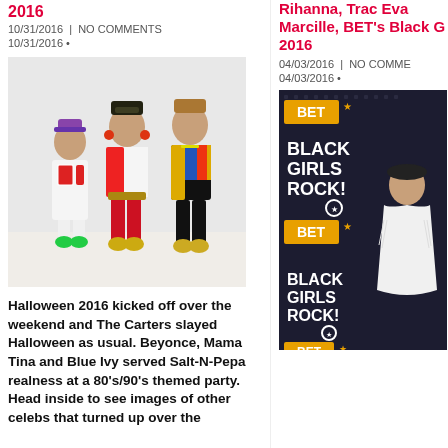2016
10/31/2016 | NO COMMENTS
10/31/2016 •
[Figure (photo): Beyonce, Mama Tina, and Blue Ivy in Salt-N-Pepa Halloween costumes]
Halloween 2016 kicked off over the weekend and The Carters slayed Halloween as usual. Beyonce, Mama Tina and Blue Ivy served Salt-N-Pepa realness at a 80's/90's themed party. Head inside to see images of other celebs that turned up over the
Rihanna, Trac Eva Marcille, BET's Black G 2016
04/03/2016 | NO COMME
04/03/2016 •
[Figure (photo): Woman in white dress on Black Girls Rock! BET red carpet backdrop]